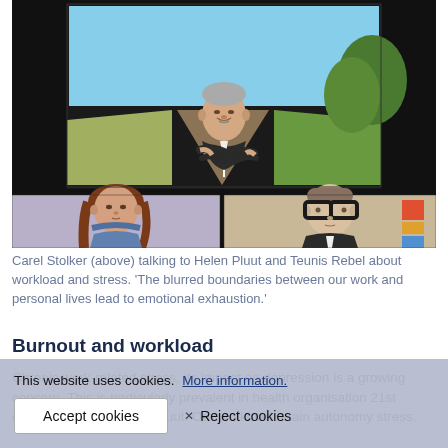[Figure (illustration): Illustrated digital artwork showing three animated/cartoon-style people on a dark background. Top center: an older man with grey hair and crossed arms in front of an outdoor illustrated background (road, trees, sky). Bottom left: a young woman with long brown hair in a blue jacket against a purple/grey background. Bottom right: a man with short hair and thick black glasses in a beige/tan setting with colorful shapes visible at right edge.]
Carel Stolker (above) talking to Helen Pluut and Teunis Rebel about workload and stress. ‘The blurred boundaries between our work and personal lives lead to emotional exhaustion.’
Burnout and workload
Chronic work-related stress, its impact on depression is a growing concern. This is particularly prevalent in health organisation 21st century in 2019 assess Pluut. Our workload retain autonomy stress.